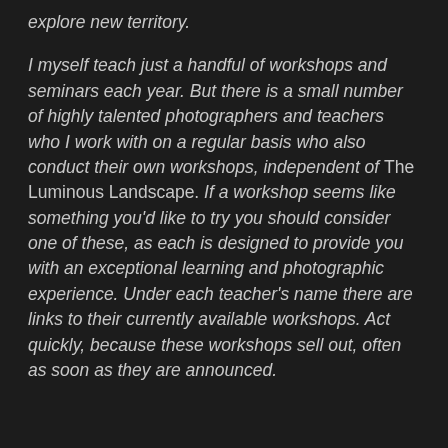explore new territory.
I myself teach just a handful of workshops and seminars each year. But there is a small number of highly talented photographers and teachers who I work with on a regular basis who also conduct their own workshops, independent of The Luminous Landscape. If a workshop seems like something you'd like to try you should consider one of these, as each is designed to provide you with an exceptional learning and photographic experience. Under each teacher's name there are links to their currently available workshops. Act quickly, because these workshops sell out, often as soon as they are announced.